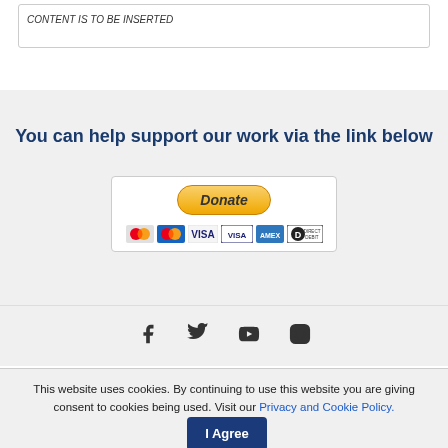CONTENT IS TO BE INSERTED
You can help support our work via the link below
[Figure (other): PayPal Donate button with payment method icons (Mastercard, Mastercard, VISA, VISA, American Express, Direct Debit)]
[Figure (other): Social media icons: Facebook, Twitter, YouTube, Instagram]
This website uses cookies. By continuing to use this website you are giving consent to cookies being used. Visit our Privacy and Cookie Policy.
I Agree